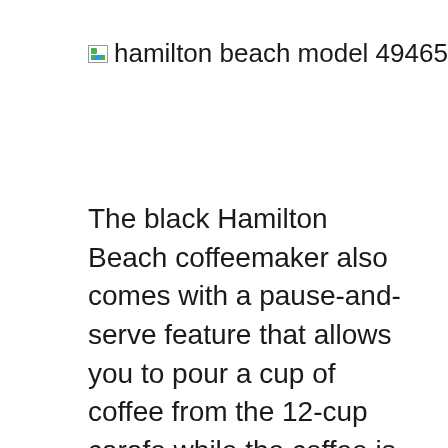hamilton beach model 49465 manual
The black Hamilton Beach coffeemaker also comes with a pause-and-serve feature that allows you to pour a cup of coffee from the 12-cup carafe while the coffee is still brewing. The Hamilton Beach 12-Cup Programmable Coffeemaker has a nonstick hot plate, which allows for easy cleaning, a basket-style coffee filter and cord storage. User Guide Summary. The manual was written in 3 languages including English, FranÇaise, Español and applied to 49315, 49315R, 49316, 49316R, 49464, 49465, 49465R.The